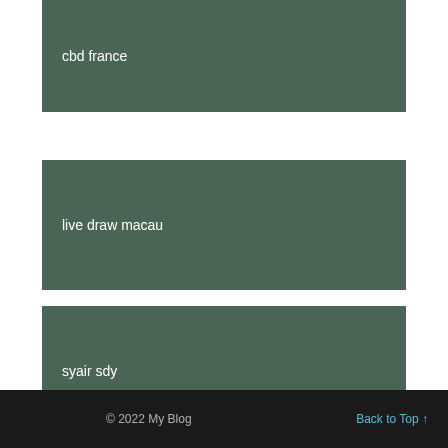cbd france
live draw macau
syair sdy
© 2022 My Blog   Back to Top ↑